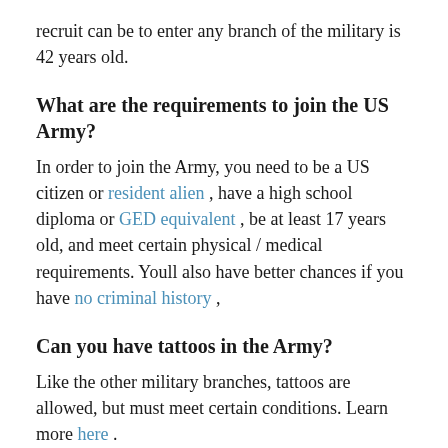recruit can be to enter any branch of the military is 42 years old.
What are the requirements to join the US Army?
In order to join the Army, you need to be a US citizen or resident alien, have a high school diploma or GED equivalent, be at least 17 years old, and meet certain physical / medical requirements. Youll also have better chances if you have no criminal history,
Can you have tattoos in the Army?
Like the other military branches, tattoos are allowed, but must meet certain conditions. Learn more here.